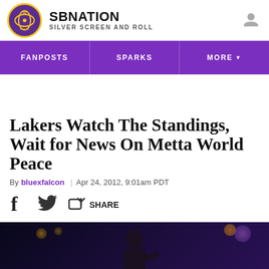SBNATION SILVER SCREEN AND ROLL
FANPOSTS | SPARKS | MORE
Lakers Watch The Standings, Wait for News On Metta World Peace
By bluexfalcon | Apr 24, 2012, 9:01am PDT
SHARE
[Figure (photo): Dark arena photo showing a person (coach/player) in a basketball arena setting with arena lights visible in background]